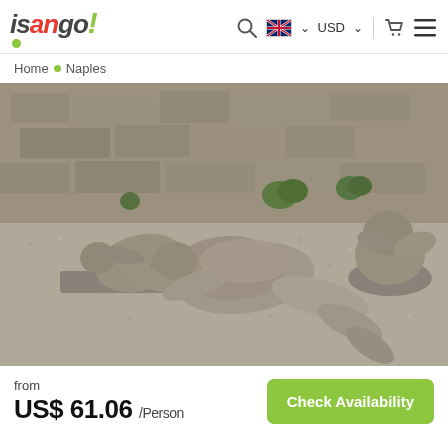isango! — Search | EN | USD | Cart | Menu
Home • Naples
[Figure (photo): Plaster casts of Pompeii victims lying on gravel ground with stone wall background, showing three preserved human body casts from the eruption of Mount Vesuvius]
from US$ 61.06 /Person
Check Availability